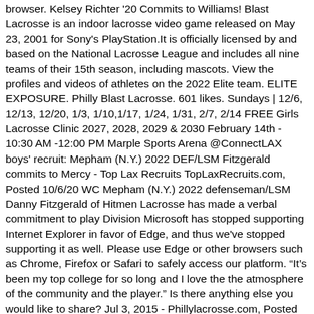browser. Kelsey Richter '20 Commits to Williams! Blast Lacrosse is an indoor lacrosse video game released on May 23, 2001 for Sony's PlayStation.It is officially licensed by and based on the National Lacrosse League and includes all nine teams of their 15th season, including mascots. View the profiles and videos of athletes on the 2022 Elite team. ELITE EXPOSURE. Philly Blast Lacrosse. 601 likes. Sundays | 12/6, 12/13, 12/20, 1/3, 1/10,1/17, 1/24, 1/31, 2/7, 2/14 FREE Girls Lacrosse Clinic 2027, 2028, 2029 & 2030 February 14th - 10:30 AM -12:00 PM Marple Sports Arena @ConnectLAX boys' recruit: Mepham (N.Y.) 2022 DEF/LSM Fitzgerald commits to Mercy - Top Lax Recruits TopLaxRecruits.com, Posted 10/6/20 WC Mepham (N.Y.) 2022 defenseman/LSM Danny Fitzgerald of Hitmen Lacrosse has made a verbal commitment to play Division Microsoft has stopped supporting Internet Explorer in favor of Edge, and thus we've stopped supporting it as well. Please use Edge or other browsers such as Chrome, Firefox or Safari to safely access our platform. "It's been my top college for so long and I love the the atmosphere of the community and the player." Is there anything else you would like to share? Jul 3, 2015 - Phillylacrosse.com, Posted 7/3/15 Registration is open for the Ultimate Summer Lacrosse Camp Experience by Blue Ox/Duke's Lacrosse Club and Philly Blast More information Find this Pin and more on PhillyLacrosse by Phillylacrosse.com . Our members hail from Westchester, Putnam, Manhattan, and Fairfield counties. . Philly Blast Lacrosse in Philadelphia, PA is a Lacrosse Club that connects their athletes with Sports Recruiting